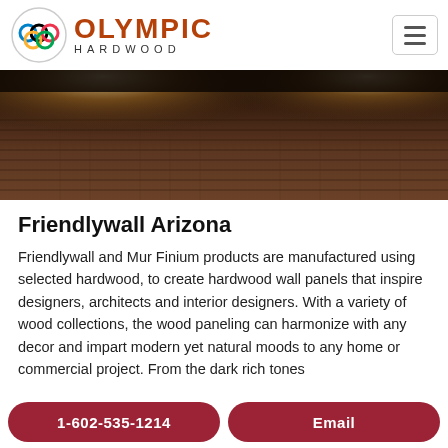[Figure (logo): Olympic Hardwood logo with Olympic rings icon and text 'OLYMPIC HARDWOOD']
[Figure (photo): Hero image of dark hardwood wall panels with two spotlights illuminating from above]
Friendlywall Arizona
Friendlywall and Mur Finium products are manufactured using selected hardwood, to create hardwood wall panels that inspire designers, architects and interior designers. With a variety of wood collections, the wood paneling can harmonize with any decor and impart modern yet natural moods to any home or commercial project. From the dark rich tones
1-602-535-1214   Email